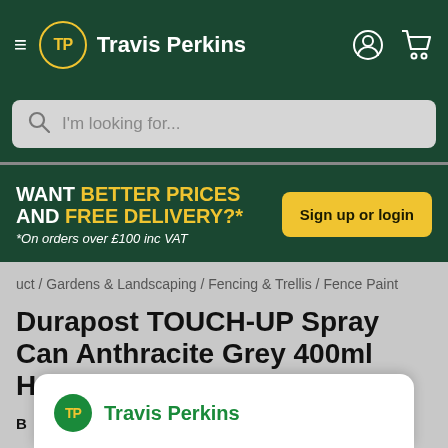Travis Perkins
[Figure (screenshot): Search bar with placeholder text 'I'm looking for...']
[Figure (infographic): Promotional banner: WANT BETTER PRICES AND FREE DELIVERY?* *On orders over £100 inc VAT — Sign up or login button]
uct / Gardens & Landscaping / Fencing & Trellis / Fence Paint
Durapost TOUCH-UP Spray Can Anthracite Grey 400ml Home Delivered
Travis Perkins